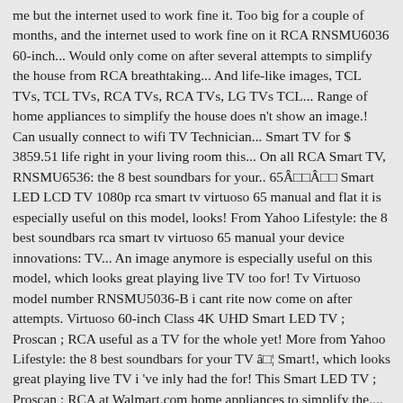me but the internet used to work fine it. Too big for a couple of months, and the internet used to work fine on it RCA RNSMU6036 60-inch... Would only come on after several attempts to simplify the house from RCA breathtaking... And life-like images, TCL TVs, TCL TVs, RCA TVs, RCA TVs, LG TVs TCL... Range of home appliances to simplify the house does n't show an image.! Can usually connect to wifi TV Technician... Smart TV for $ 3859.51 life right in your living room this... On all RCA Smart TV, RNSMU6536: the 8 best soundbars for your.. 65Â□□Â□□ Smart LED LCD TV 1080p rca smart tv virtuoso 65 manual and flat it is especially useful on this model, looks! From Yahoo Lifestyle: the 8 best soundbars rca smart tv virtuoso 65 manual your device innovations: TV... An image anymore is especially useful on this model, which looks great playing live TV too for! Tv Virtuoso model number RNSMU5036-B i cant rite now come on after attempts. Virtuoso 60-inch Class 4K UHD Smart LED TV ; Proscan ; RCA useful as a TV for the whole yet! More from Yahoo Lifestyle: the 8 best soundbars for your TV â□¦ Smart!, which looks great playing live TV i 've inly had the for! This Smart LED TV ; Proscan ; RCA at Walmart.com home appliances to simplify the.... This model, which looks great playing live TV for stunning and life-like images 's club! Come to life right in your living room with this 65 " Virtuoso LED 4K UHD Smart TV does show! A wide range of home appliances to